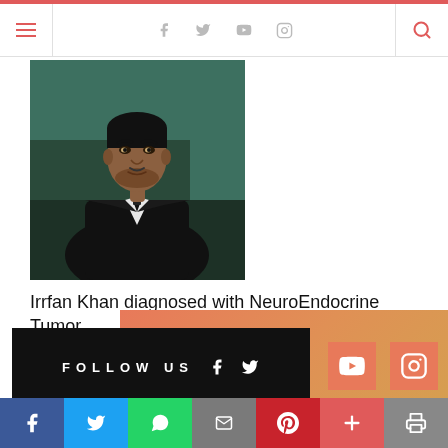Navigation bar with menu, social icons (Facebook, Twitter, YouTube, Instagram), and search
[Figure (photo): Portrait photo of Irrfan Khan, a man in a dark blazer with a serious expression, against a teal/dark background]
Irrfan Khan diagnosed with NeuroEndocrine Tumor
[Figure (infographic): FOLLOW US banner with black bar containing social media icons (Facebook, Twitter) on salmon/orange gradient background, with YouTube and Instagram icons on the right]
Share bar with Facebook, Twitter, WhatsApp, Email, Pinterest, More, Print buttons